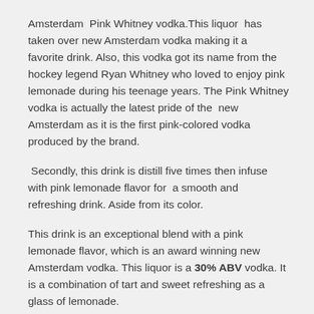Amsterdam  Pink Whitney vodka.This liquor  has taken over new Amsterdam vodka making it a  favorite drink. Also, this vodka got its name from the hockey legend Ryan Whitney who loved to enjoy pink lemonade during his teenage years. The Pink Whitney vodka is actually the latest pride of the  new Amsterdam as it is the first pink-colored vodka produced by the brand.
Secondly, this drink is distill five times then infuse with pink lemonade flavor for  a smooth and refreshing drink. Aside from its color.
This drink is an exceptional blend with a pink lemonade flavor, which is an award winning new Amsterdam vodka. This liquor is a 30% ABV vodka. It is a combination of tart and sweet refreshing as a glass of lemonade.